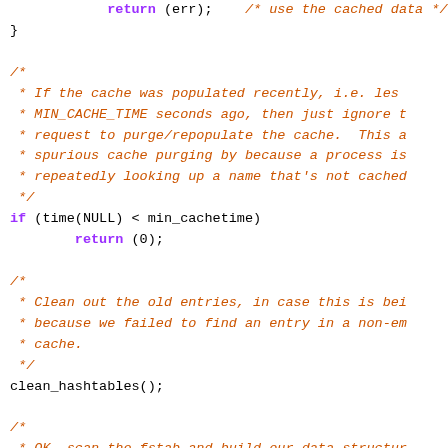Source code fragment showing C code with keywords, comments, and function calls including return (err), if (time(NULL) < min_cachetime), return (0), clean_hashtables(), setfsent(), while ((fs = getfsent()) != NULL), char *vfstype